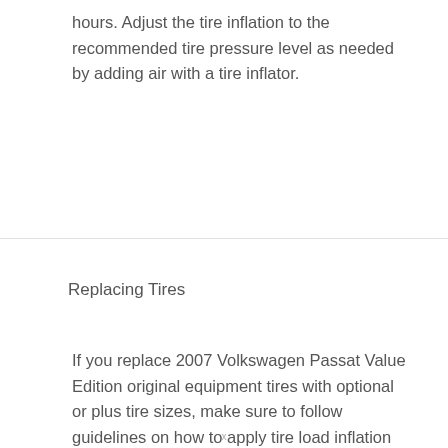hours. Adjust the tire inflation to the recommended tire pressure level as needed by adding air with a tire inflator.
Replacing Tires
If you replace 2007 Volkswagen Passat Value Edition original equipment tires with optional or plus tire sizes, make sure to follow guidelines on how to apply tire load inflation tables when replacing tires to find proper air pressure for new tires. Always